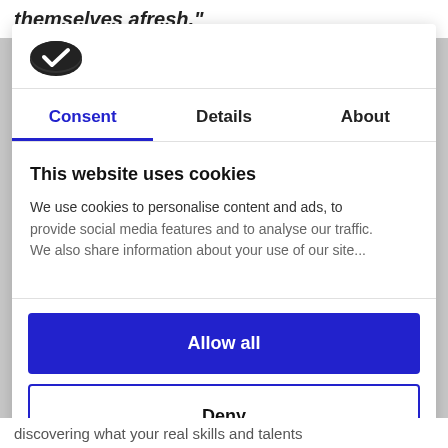themselves afresh."
[Figure (logo): Cookiebot logo - dark oval shape with white checkmark]
Consent | Details | About
This website uses cookies
We use cookies to personalise content and ads, to provide social media features and to analyse our traffic. We also share information about your use of our site...
Allow all
Deny
Powered by Cookiebot by Usercentrics
discovering what your real skills and talents